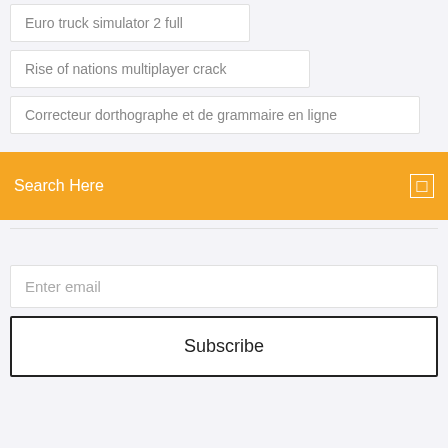Euro truck simulator 2 full
Rise of nations multiplayer crack
Correcteur dorthographe et de grammaire en ligne
Search Here
Enter email
Subscribe